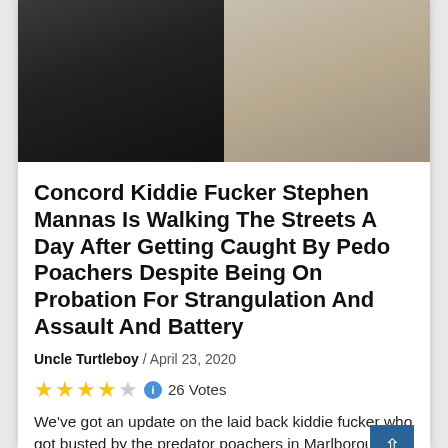[Figure (photo): Two men shown side by side, one in a dark t-shirt with a necklace, the other in a light patterned shirt wearing a seatbelt in a vehicle]
Concord Kiddie Fucker Stephen Mannas Is Walking The Streets A Day After Getting Caught By Pedo Poachers Despite Being On Probation For Strangulation And Assault And Battery
Uncle Turtleboy / April 23, 2020
26 Votes
We've got an update on the laid back kiddie fucker who got busted by the predator poachers in Marlborough…